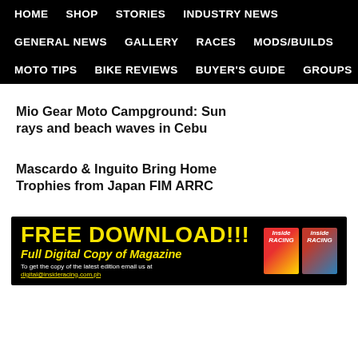HOME  SHOP  STORIES  INDUSTRY NEWS
GENERAL NEWS  GALLERY  RACES  MODS/BUILDS
MOTO TIPS  BIKE REVIEWS  BUYER'S GUIDE  GROUPS
Mio Gear Moto Campground: Sun rays and beach waves in Cebu
Mascardo & Inguito Bring Home Trophies from Japan FIM ARRC
[Figure (infographic): Black banner ad: FREE DOWNLOAD!!! Full Digital Copy of Magazine. To get the copy of the latest edition email us at digital@insideracing.com.ph. Two magazine covers on the right side.]